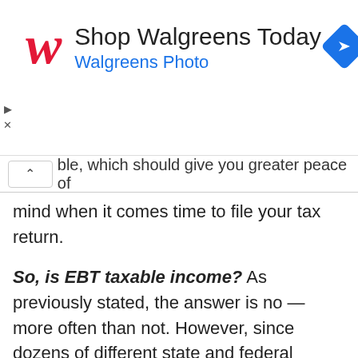[Figure (other): Walgreens advertisement banner showing the Walgreens W logo in red, 'Shop Walgreens Today' headline, 'Walgreens Photo' subtitle in blue, and a blue navigation diamond icon on the right]
ble, which should give you greater peace of mind when it comes time to file your tax return.
So, is EBT taxable income? As previously stated, the answer is no — more often than not. However, since dozens of different state and federal programs distribute funds through the EBT system, you may be liable to pay taxes based on the type of funds you receive. If you need professional advice on the tax obligations specific to your state and benefits, be sure to seek out free legal aid today!